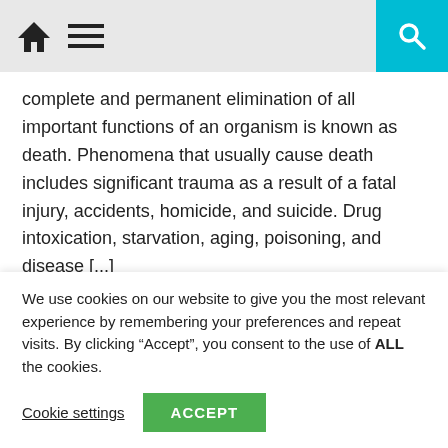Home | Menu | Search
complete and permanent elimination of all important functions of an organism is known as death. Phenomena that usually cause death includes significant trauma as a result of a fatal injury, accidents, homicide, and suicide. Drug intoxication, starvation, aging, poisoning, and disease [...]
[Figure (photo): Black and white photograph showing what appears to be a ceiling or interior structure with horizontal bars or rails visible, taken from below.]
We use cookies on our website to give you the most relevant experience by remembering your preferences and repeat visits. By clicking “Accept”, you consent to the use of ALL the cookies.
Cookie settings | ACCEPT